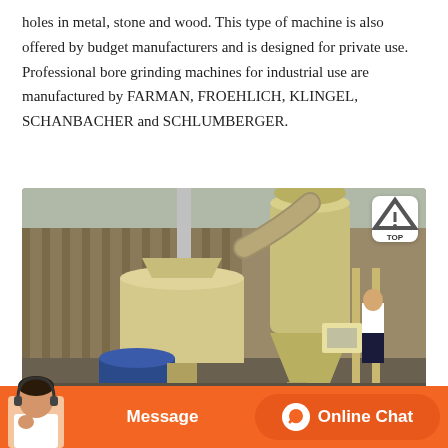holes in metal, stone and wood. This type of machine is also offered by budget manufacturers and is designed for private use. Professional bore grinding machines for industrial use are manufactured by FARMAN, FROEHLICH, KLINGEL, SCHANBACHER and SCHLUMBERGER.
[Figure (photo): Outdoor industrial grinding/milling machine with yellow cyclone separator and blue motor, photographed in a yard with wooden fence and a person in background.]
Message
Online Chat